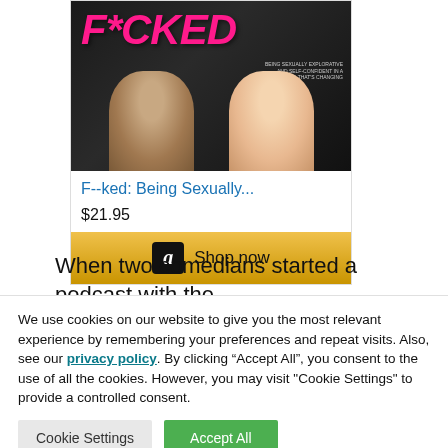[Figure (photo): Book cover for F--ked: Being Sexually... showing two women's faces on a dark background with pink title text]
F--ked: Being Sexually...
$21.95
[Figure (other): Amazon Shop now button with Amazon logo on gold/yellow background]
When two comedians started a podcast with the
We use cookies on our website to give you the most relevant experience by remembering your preferences and repeat visits. Also, see our privacy policy. By clicking “Accept All”, you consent to the use of all the cookies. However, you may visit "Cookie Settings" to provide a controlled consent.
Cookie Settings
Accept All